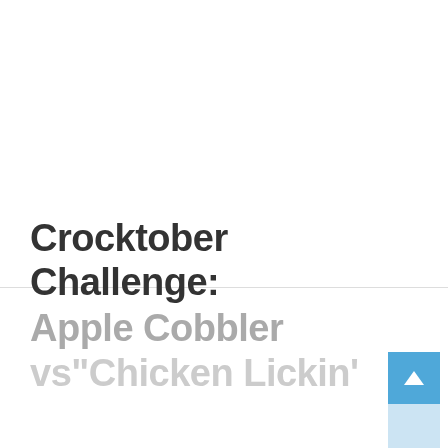Crocktober Challenge: Apple Cobbler vs"Chicken Lickin'"